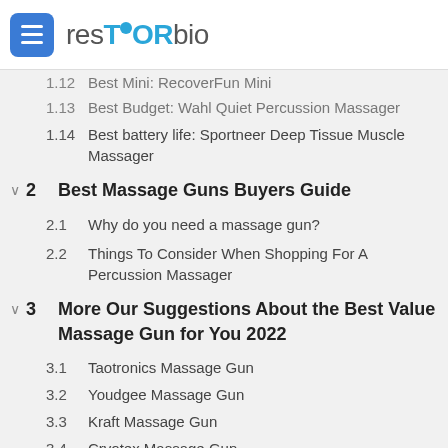resTORbio
1.12  Best Mini: RecoverFun Mini
1.13  Best Budget: Wahl Quiet Percussion Massager
1.14  Best battery life: Sportneer Deep Tissue Muscle Massager
2  Best Massage Guns Buyers Guide
2.1  Why do you need a massage gun?
2.2  Things To Consider When Shopping For A Percussion Massager
3  More Our Suggestions About the Best Value Massage Gun for You 2022
3.1  Taotronics Massage Gun
3.2  Youdgee Massage Gun
3.3  Kraft Massage Gun
3.4  Cryotex Massage Gun
3.5  Hy Impact Massage Gun
3.6  Achedaway Massage Gun
3.7  Ztech